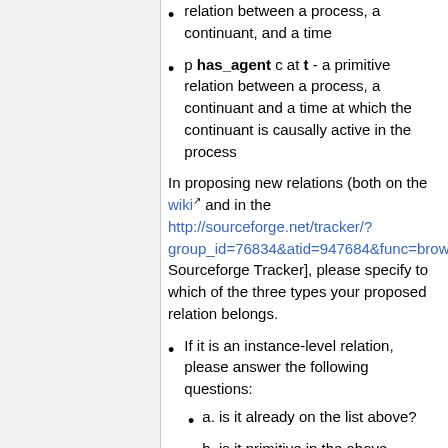relation between a process, a continuant, and a time
p has_agent c at t - a primitive relation between a process, a continuant and a time at which the continuant is causally active in the process
In proposing new relations (both on the wiki and in the http://sourceforge.net/tracker/?group_id=76834&atid=947684&func=browse Sourceforge Tracker], please specify to which of the three types your proposed relation belongs.
If it is an instance-level relation, please answer the following questions:
a. is it already on the list above?
b. is it primitive in the above-